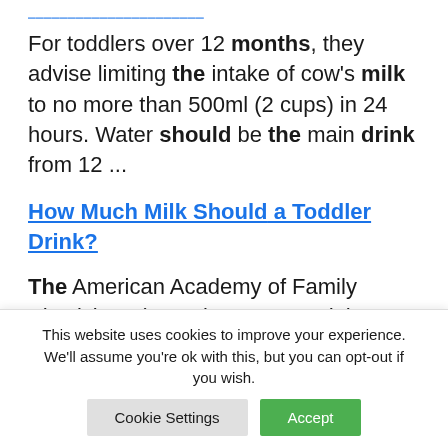[link at top — partially visible]
For toddlers over 12 months, they advise limiting the intake of cow's milk to no more than 500ml (2 cups) in 24 hours. Water should be the main drink from 12 ...
How Much Milk Should a Toddler Drink?
The American Academy of Family Physicians (AAFP) recommend that children over the age of 12 months
This website uses cookies to improve your experience. We'll assume you're ok with this, but you can opt-out if you wish.
Cookie Settings | Accept